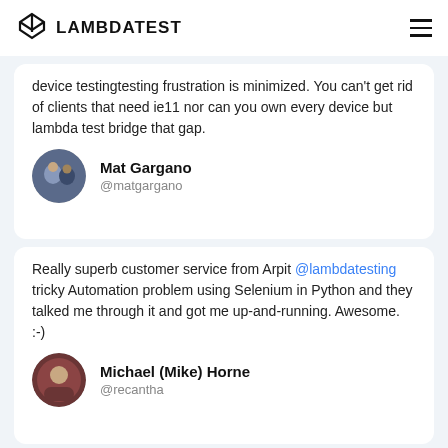LAMBDATEST
device testingtesting frustration is minimized. You can't get rid of clients that need ie11 nor can you own every device but lambda test bridge that gap.
Mat Gargano @matgargano
Really superb customer service from Arpit @lambdatesting tricky Automation problem using Selenium in Python and they talked me through it and got me up-and-running. Awesome. :-)
Michael (Mike) Horne @recantha